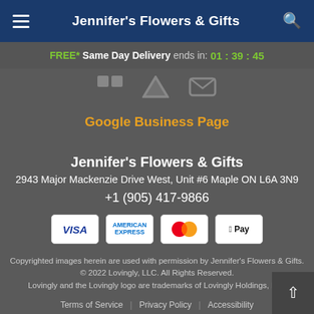Jennifer's Flowers & Gifts
FREE* Same Day Delivery ends in: 01 : 39 : 45
Google Business Page
Jennifer's Flowers & Gifts
2943 Major Mackenzie Drive West, Unit #6 Maple ON L6A 3N9
+1 (905) 417-9866
[Figure (logo): Payment method logos: VISA, American Express, Mastercard, Apple Pay]
Copyrighted images herein are used with permission by Jennifer's Flowers & Gifts. © 2022 Lovingly, LLC. All Rights Reserved. Lovingly and the Lovingly logo are trademarks of Lovingly Holdings, LLC
Terms of Service | Privacy Policy | Accessibility